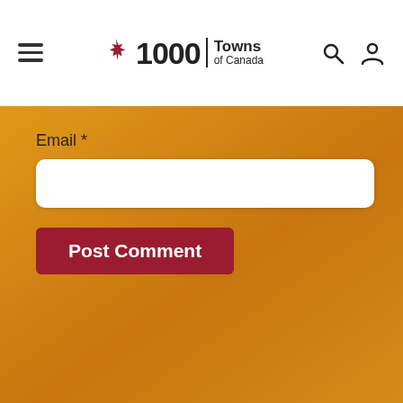1000 Towns of Canada
Email *
Post Comment
[Figure (illustration): 1000 Towns of Canada logo with maple leaf, bicycle illustration, and historic building illustration on orange gradient background]
Share This
My Trip
1000 Towns
Add Place